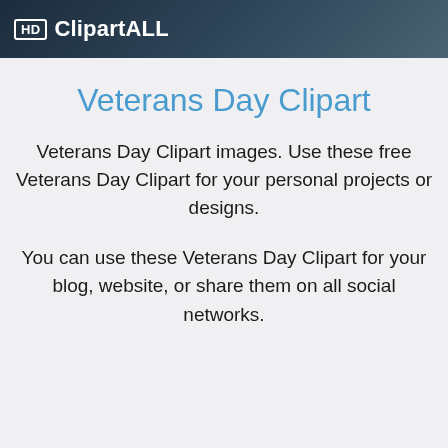HD ClipartALL
Veterans Day Clipart
Veterans Day Clipart images. Use these free Veterans Day Clipart for your personal projects or designs.
You can use these Veterans Day Clipart for your blog, website, or share them on all social networks.